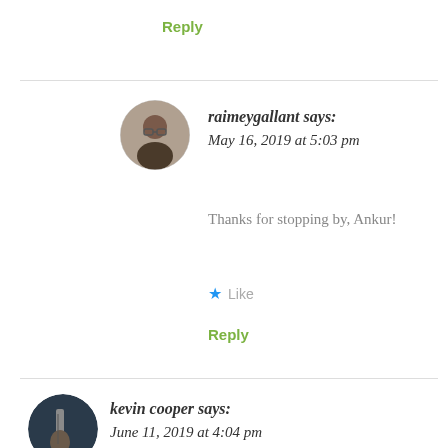Reply
raimeygallant says:
May 16, 2019 at 5:03 pm
Thanks for stopping by, Ankur!
Like
Reply
kevin cooper says:
June 11, 2019 at 4:04 pm
I'll have to keep this in mind next time I write.